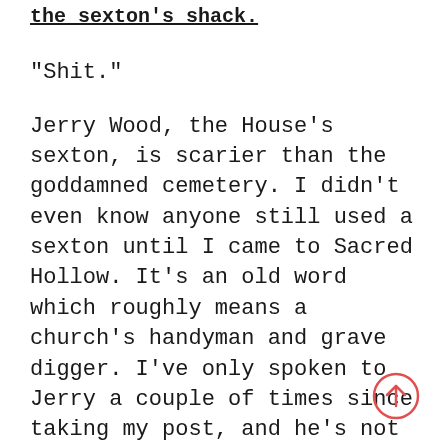the sexton's shack.
“Shit.”
Jerry Wood, the House’s sexton, is scarier than the goddamned cemetery. I didn’t even know anyone still used a sexton until I came to Sacred Hollow. It’s an old word which roughly means a church’s handyman and grave digger. I’ve only spoken to Jerry a couple of times since taking my post, and he’s not a talkative sort. Closer to seven feet tall than six, broad-shouldered, and one of those faces from a hard life that makes it impossible to tell his age. From the church record’s though, he’s been here almost forty years.